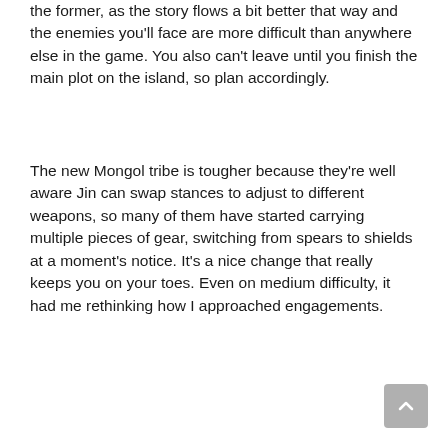the former, as the story flows a bit better that way and the enemies you'll face are more difficult than anywhere else in the game. You also can't leave until you finish the main plot on the island, so plan accordingly.
The new Mongol tribe is tougher because they're well aware Jin can swap stances to adjust to different weapons, so many of them have started carrying multiple pieces of gear, switching from spears to shields at a moment's notice. It's a nice change that really keeps you on your toes. Even on medium difficulty, it had me rethinking how I approached engagements.